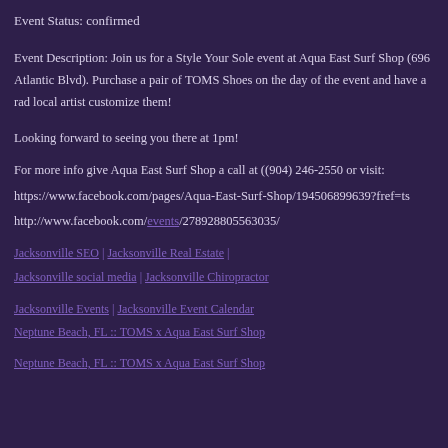Event Status: confirmed
Event Description: Join us for a Style Your Sole event at Aqua East Surf Shop (696 Atlantic Blvd). Purchase a pair of TOMS Shoes on the day of the event and have a rad local artist customize them!
Looking forward to seeing you there at 1pm!
For more info give Aqua East Surf Shop a call at ((904) 246-2550 or visit:
https://www.facebook.com/pages/Aqua-East-Surf-Shop/194506899639?fref=ts
http://www.facebook.com/events/278928805563035/
Jacksonville SEO | Jacksonville Real Estate | Jacksonville social media | Jacksonville Chiropractor
Jacksonville Events | Jacksonville Event Calendar
Neptune Beach, FL :: TOMS x Aqua East Surf Shop
Neptune Beach, FL :: TOMS x Aqua East Surf Shop